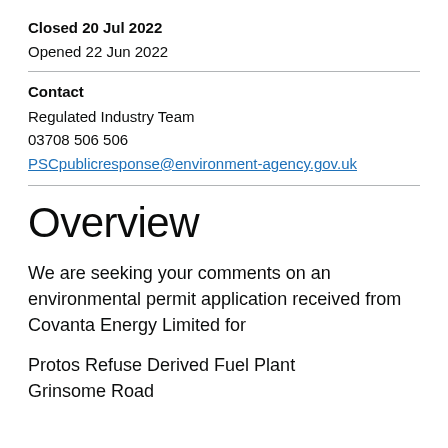Closed 20 Jul 2022
Opened 22 Jun 2022
Contact
Regulated Industry Team
03708 506 506
PSCpublicresponse@environment-agency.gov.uk
Overview
We are seeking your comments on an environmental permit application received from Covanta Energy Limited for
Protos Refuse Derived Fuel Plant
Grinsome Road